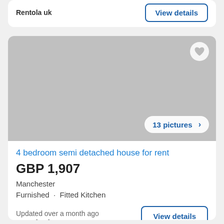Rentola uk
View details
[Figure (photo): Gray placeholder image for property listing with a heart/favorite button in the top right corner and a '13 pictures >' badge in the bottom right corner]
4 bedroom semi detached house for rent
GBP 1,907
Manchester
Furnished · Fitted Kitchen
Updated over a month ago
Rentola uk
View details